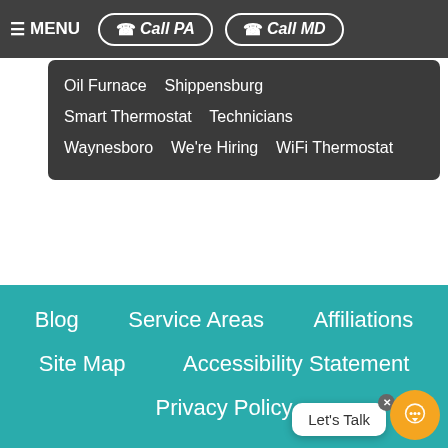☰ MENU  ☎ Call PA  ☎ Call MD
Oil Furnace   Shippensburg
Smart Thermostat   Technicians
Waynesboro   We're Hiring   WiFi Thermostat
Blog
Service Areas
Affiliations
Site Map
Accessibility Statement
Privacy Policy
Join our Mailing List:
Email
Send
Let's Talk